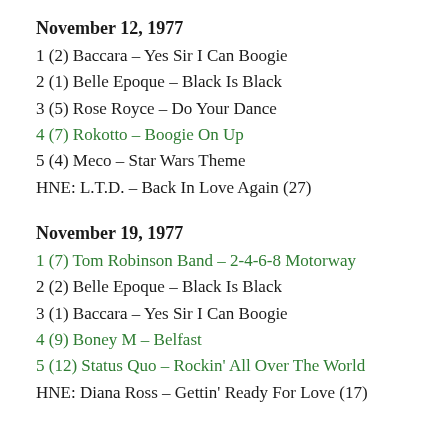November 12, 1977
1 (2) Baccara – Yes Sir I Can Boogie
2 (1) Belle Epoque – Black Is Black
3 (5) Rose Royce – Do Your Dance
4 (7) Rokotto – Boogie On Up
5 (4) Meco – Star Wars Theme
HNE: L.T.D. – Back In Love Again (27)
November 19, 1977
1 (7) Tom Robinson Band – 2-4-6-8 Motorway
2 (2) Belle Epoque – Black Is Black
3 (1) Baccara – Yes Sir I Can Boogie
4 (9) Boney M – Belfast
5 (12) Status Quo – Rockin' All Over The World
HNE: Diana Ross – Gettin' Ready For Love (17)